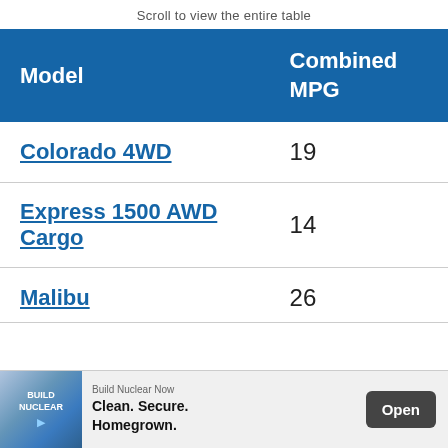Scroll to view the entire table
| Model | Combined MPG |
| --- | --- |
| Colorado 4WD | 19 |
| Express 1500 AWD Cargo | 14 |
| Malibu | 26 |